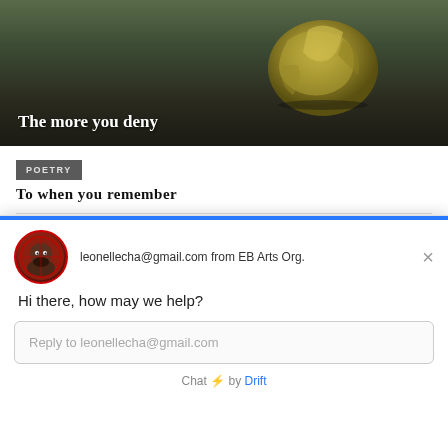[Figure (photo): Dark moody photograph of a crumpled paper ball on a dark surface with text overlay 'The more you deny']
The more you deny
POETRY
To when you remember
POETRY
mories of ourselves
[Figure (screenshot): Chat widget overlay showing avatar of person, email leonellecha@gmail.com from EB Arts Org, greeting 'Hi there, how may we help?', reply input field, and 'Chat by Drift' footer]